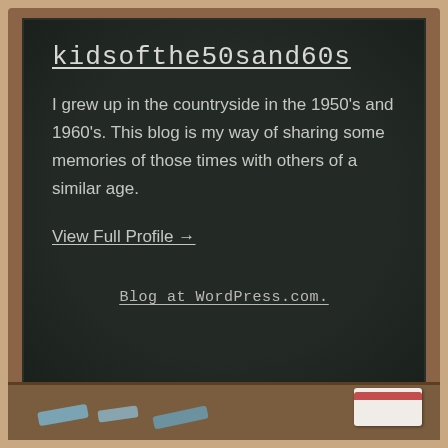kidsofthe50sand60s
I grew up in the countryside in the 1950's and 1960's. This blog is my way of sharing some memories of those times with others of a similar age.
View Full Profile →
Blog at WordPress.com.